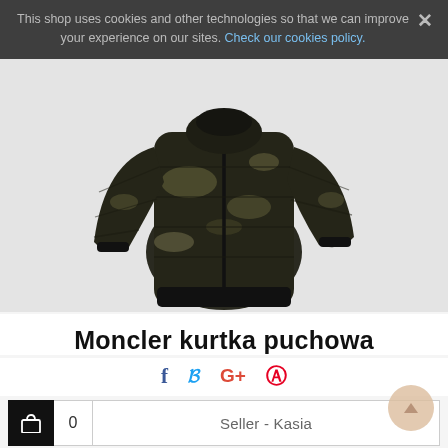This shop uses cookies and other technologies so that we can improve your experience on our sites. Check our cookies policy.
[Figure (photo): Product photo of a Moncler puchowa (down) jacket in dark camouflage pattern, shown on a mannequin against a light grey background.]
Moncler kurtka puchowa
f  twitter  G+  Pinterest (social share icons)
Seller - Kasia